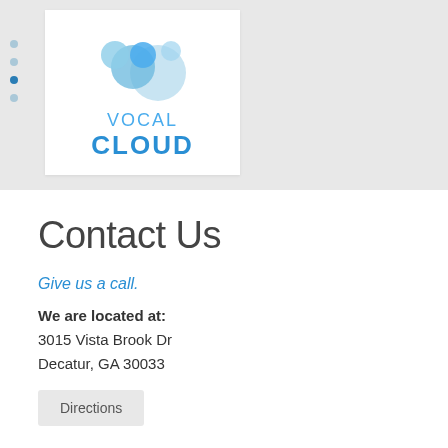[Figure (logo): Vocal Cloud logo with blue circle cloud shapes above text reading VOCAL CLOUD]
Contact Us
Give us a call.
We are located at:
3015 Vista Brook Dr
Decatur, GA 30033
Directions